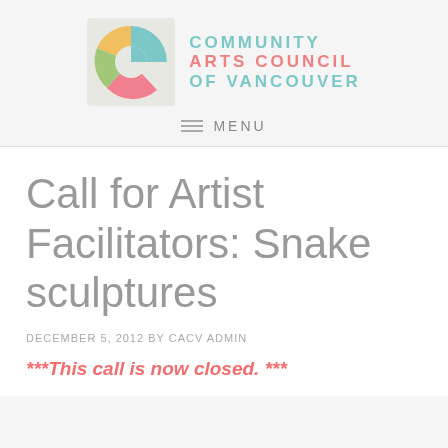[Figure (logo): Community Arts Council of Vancouver logo: colorful pie/arc graphic with teal, yellow, green, and pink segments, beside the organization name in teal and coral/red text]
MENU
Call for Artist Facilitators: Snake sculptures
DECEMBER 5, 2012 by CACV ADMIN
***This call is now closed. ***